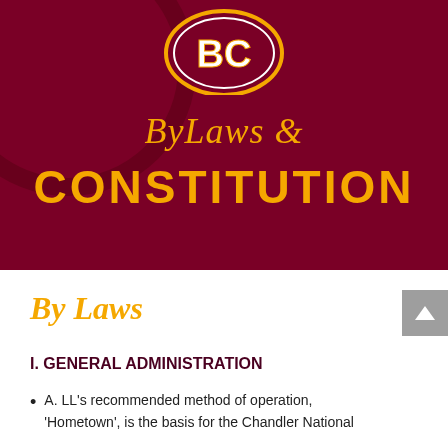[Figure (illustration): Dark maroon banner background with a sports logo (partially visible at top center) showing stylized letters in gold/white with gold outline on maroon background. A baseball or sports ball texture is faintly visible in the upper left corner.]
ByLaws & CONSTITUTION
By Laws
I. GENERAL ADMINISTRATION
A. LL's recommended method of operation, 'Hometown', is the basis for the Chandler National